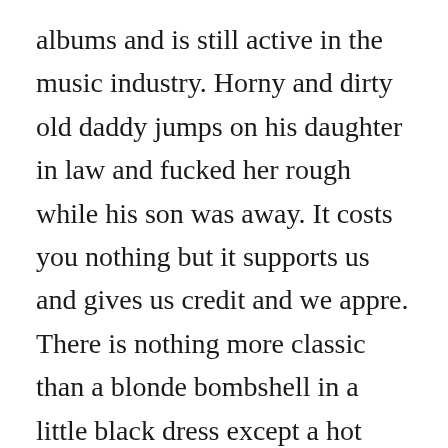albums and is still active in the music industry. Horny and dirty old daddy jumps on his daughter in law and fucked her rough while his son was away. It costs you nothing but it supports us and gives us credit and we appre. There is nothing more classic than a blonde bombshell in a little black dress except a hot mature blonde milf taking her little black dress off cory chase. Download the pimp tape no download links are allowed. I go hard on a bitch fuck respect for ya men i get my way with a bitch when i act like a pimp always carrying bank but i fooled the bitch